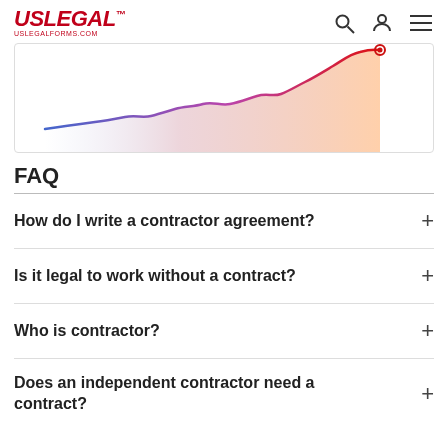USLegal™ uslegalforms.com
[Figure (continuous-plot): Line chart showing an upward trending curve transitioning from blue on the left to red on the right, with a shaded area beneath in orange/peach gradient, ending with a red dot at the peak on the right side.]
FAQ
How do I write a contractor agreement?
Is it legal to work without a contract?
Who is contractor?
Does an independent contractor need a contract?